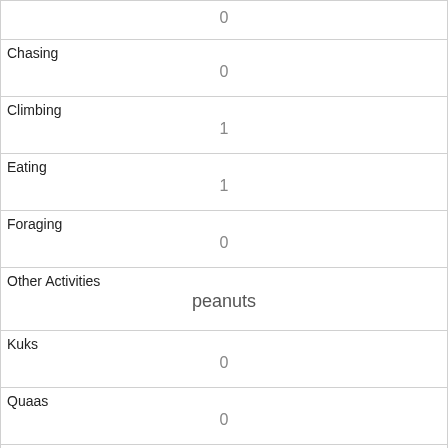| 0 |
| Chasing | 0 |
| Climbing | 1 |
| Eating | 1 |
| Foraging | 0 |
| Other Activities | peanuts |
| Kuks | 0 |
| Quaas | 0 |
| Moans | 0 |
| Tail flags | 0 |
| Tail twitches | 0 |